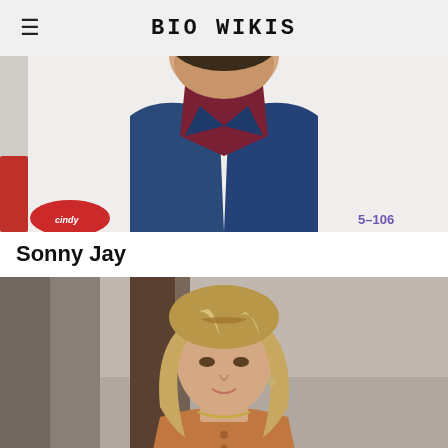BIO WIKIS
[Figure (photo): Man in navy blue blazer and dark red/maroon turtleneck, partial body shot from chest up, event backdrop partially visible with text '5-106']
Sonny Jay
[Figure (photo): Young woman with long wavy blonde highlighted hair, wearing a brown/caramel button-up top and a chain necklace, leaning against a grey concrete wall]